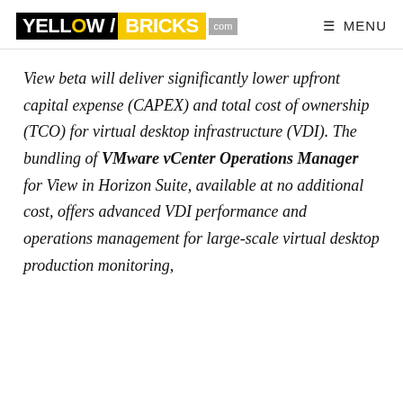YELLOW/BRICKS .com  MENU
View beta will deliver significantly lower upfront capital expense (CAPEX) and total cost of ownership (TCO) for virtual desktop infrastructure (VDI). The bundling of VMware vCenter Operations Manager for View in Horizon Suite, available at no additional cost, offers advanced VDI performance and operations management for large-scale virtual desktop production monitoring,